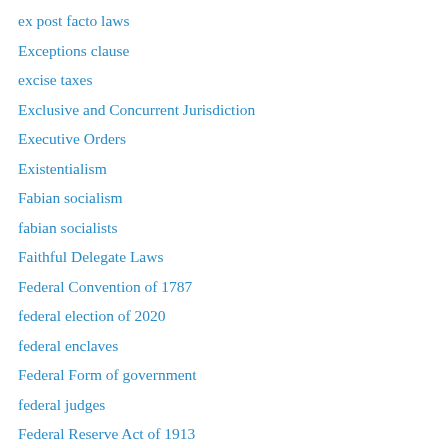ex post facto laws
Exceptions clause
excise taxes
Exclusive and Concurrent Jurisdiction
Executive Orders
Existentialism
Fabian socialism
fabian socialists
Faithful Delegate Laws
Federal Convention of 1787
federal election of 2020
federal enclaves
Federal Form of government
federal judges
Federal Reserve Act of 1913
federal spending
Federalism
Federalist No. 49
Federalist Paper No. 45
Federalist Paper No. 46